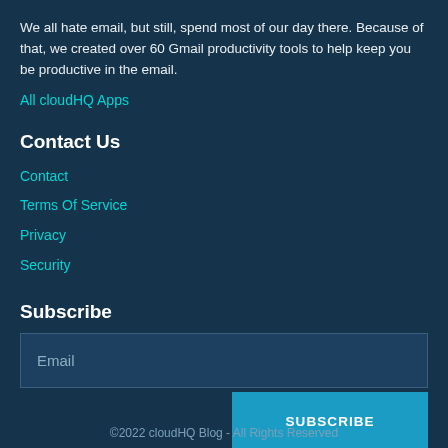We all hate email, but still, spend most of our day there. Because of that, we created over 60 Gmail productivity tools to help keep you be productive in the email.
All cloudHQ Apps
Contact Us
Contact
Terms Of Service
Privacy
Security
Subscribe
[Figure (other): Email input field with placeholder 'Email' and a SUBSCRIBE button]
©2022 cloudHQ Blog - All Rights Reserved